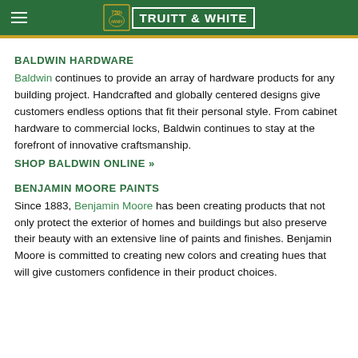Truitt & White
BALDWIN HARDWARE
Baldwin continues to provide an array of hardware products for any building project. Handcrafted and globally centered designs give customers endless options that fit their personal style. From cabinet hardware to commercial locks, Baldwin continues to stay at the forefront of innovative craftsmanship.
SHOP BALDWIN ONLINE »
BENJAMIN MOORE PAINTS
Since 1883, Benjamin Moore has been creating products that not only protect the exterior of homes and buildings but also preserve their beauty with an extensive line of paints and finishes. Benjamin Moore is committed to creating new colors and creating hues that will give customers confidence in their product choices.